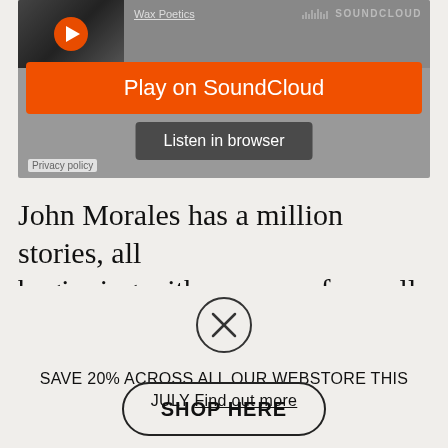[Figure (screenshot): SoundCloud embedded audio player showing 'Wax Poetics' track with orange 'Play on SoundCloud' button and dark 'Listen in browser' button on grey background]
Privacy policy
John Morales has a million stories, all beginning with someone from all his...
[Figure (other): Close/dismiss button: circle with X inside]
SAVE 20% ACROSS ALL OUR WEBSTORE THIS JULY Find out more
[Figure (other): SHOP HERE button with rounded border]